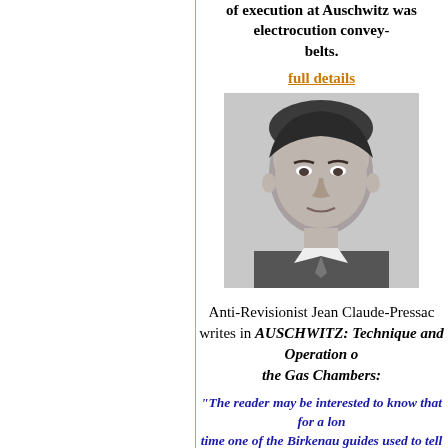of execution at Auschwitz was electrocution convey- belts.
full details
[Figure (photo): Black and white headshot photograph of a man, presumably Jean Claude-Pressac]
Anti-Revisionist Jean Claude-Pressac writes in AUSCHWITZ: Technique and Operation of the Gas Chambers:
"The reader may be interested to know that for a long time one of the Birkenau guides used to tell visitors that Krematorium VI was planned to be electric. The victims would have stepped on a conveyor belt and